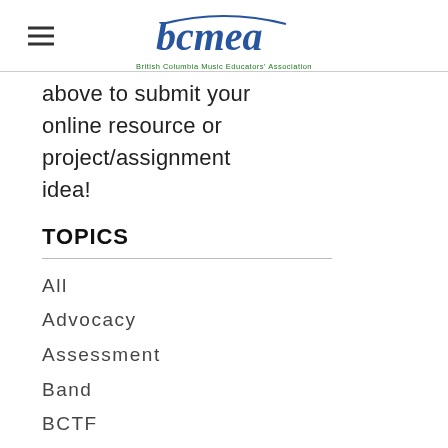bcmea – British Columbia Music Educators' Association
above to submit your online resource or project/assignment idea!
TOPICS
All
Advocacy
Assessment
Band
BCTF
Check-In/Town Hall
Choir